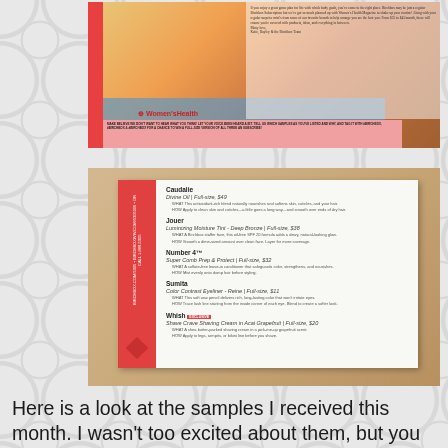[Figure (photo): Photo of a Women's Health magazine or pamphlet with smoothie/juice image and a pink banner, inside a red-edged subscription box with blue tissue paper]
[Figure (photo): Photo of a product information card with red strip on the left side listing beauty samples: Caudalie Divine Oil Full-size $49, Jouer Luminizing Moisture Tint Deep Bronze Full-size $38, Number 4 Super Comb Prep & Protect Full-size $32, Sumita Color Contrast Eyeliner Reine Full-size $11, Whish Shave Crave Shaving Cream in Acai Grapefruit Full-size $20]
Here is a look at the samples I received this month. I wasn't too excited about them, but you never know until you try